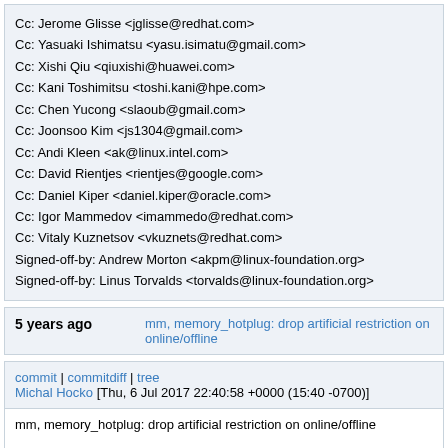Cc: Jerome Glisse <jglisse@redhat.com>
Cc: Yasuaki Ishimatsu <yasu.isimatu@gmail.com>
Cc: Xishi Qiu <qiuxishi@huawei.com>
Cc: Kani Toshimitsu <toshi.kani@hpe.com>
Cc: Chen Yucong <slaoub@gmail.com>
Cc: Joonsoo Kim <js1304@gmail.com>
Cc: Andi Kleen <ak@linux.intel.com>
Cc: David Rientjes <rientjes@google.com>
Cc: Daniel Kiper <daniel.kiper@oracle.com>
Cc: Igor Mammedov <imammedo@redhat.com>
Cc: Vitaly Kuznetsov <vkuznets@redhat.com>
Signed-off-by: Andrew Morton <akpm@linux-foundation.org>
Signed-off-by: Linus Torvalds <torvalds@linux-foundation.org>
5 years ago    mm, memory_hotplug: drop artificial restriction on online/offline
commit | commitdiff | tree
Michal Hocko [Thu, 6 Jul 2017 22:40:58 +0000 (15:40 -0700)]
mm, memory_hotplug: drop artificial restriction on online/offline

Patch series "remove CONFIG_MOVABLE_NODE".